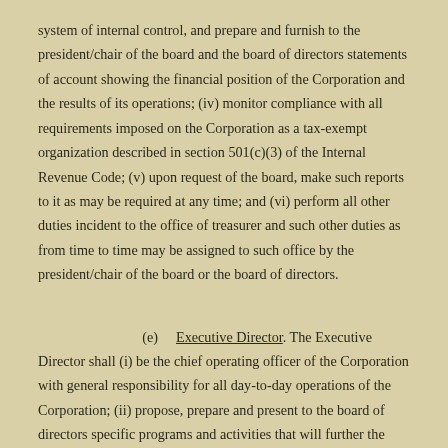system of internal control, and prepare and furnish to the president/chair of the board and the board of directors statements of account showing the financial position of the Corporation and the results of its operations; (iv) monitor compliance with all requirements imposed on the Corporation as a tax-exempt organization described in section 501(c)(3) of the Internal Revenue Code; (v) upon request of the board, make such reports to it as may be required at any time; and (vi) perform all other duties incident to the office of treasurer and such other duties as from time to time may be assigned to such office by the president/chair of the board or the board of directors.
(e) Executive Director. The Executive Director shall (i) be the chief operating officer of the Corporation with general responsibility for all day-to-day operations of the Corporation; (ii) propose, prepare and present to the board of directors specific programs and activities that will further the Corporation's purposes; (iii) direct and supervise the